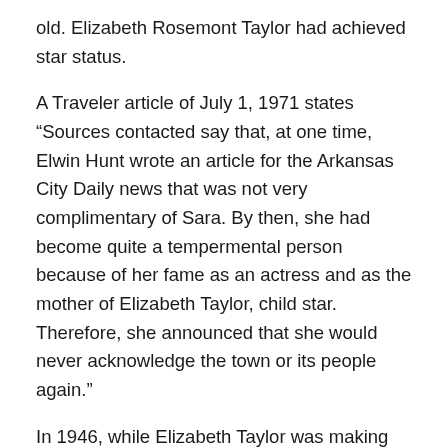old. Elizabeth Rosemont Taylor had achieved star status.
A Traveler article of July 1, 1971 states “Sources contacted say that, at one time, Elwin Hunt wrote an article for the Arkansas City Daily news that was not very complimentary of Sara. By then, she had become quite a tempermental person because of her fame as an actress and as the mother of Elizabeth Taylor, child star. Therefore, she announced that she would never acknowledge the town or its people again.”
In 1946, while Elizabeth Taylor was making Life with Father, Sara fell in love with Michael Curtiz, who was directing the film. That brief affair ruptured the Taylor’s marriage for a time. Francis left with his son for Wisconsin to stay with his uncle, Howard Young. Elizabeth remained in Hollywood with her mother. The family reunited in